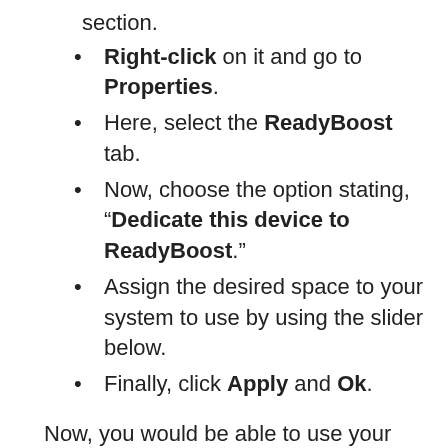section.
Right-click on it and go to Properties.
Here, select the ReadyBoost tab.
Now, choose the option stating, “Dedicate this device to ReadyBoost.”
Assign the desired space to your system to use by using the slider below.
Finally, click Apply and Ok.
Now, you would be able to use your flash drive as an external RAM for your PC. ReadyBoost will show a promising increase in PC performance if you use a heavy application like Photoshop on a low-end